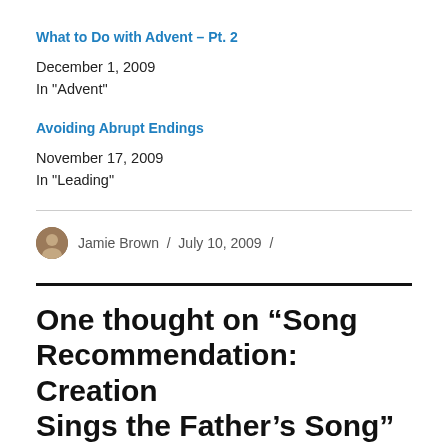What to Do with Advent – Pt. 2
December 1, 2009
In "Advent"
Avoiding Abrupt Endings
November 17, 2009
In "Leading"
Jamie Brown / July 10, 2009 /
One thought on “Song Recommendation: Creation Sings the Father’s Song”